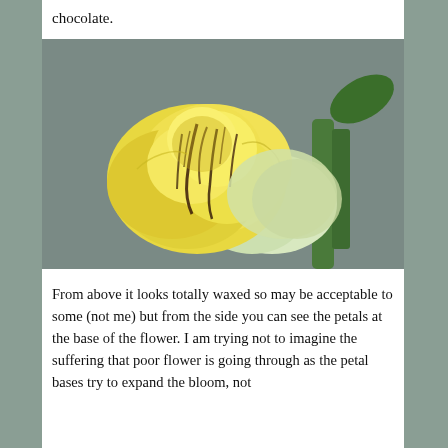chocolate.
[Figure (photo): Close-up photograph of a yellow rose bud with dark brown/chocolate streaks drizzled over the petals. The rose has a green stem visible on the right side. The background is blurred gray.]
From above it looks totally waxed so may be acceptable to some (not me) but from the side you can see the petals at the base of the flower. I am trying not to imagine the suffering that poor flower is going through as the petal bases try to expand the bloom, not